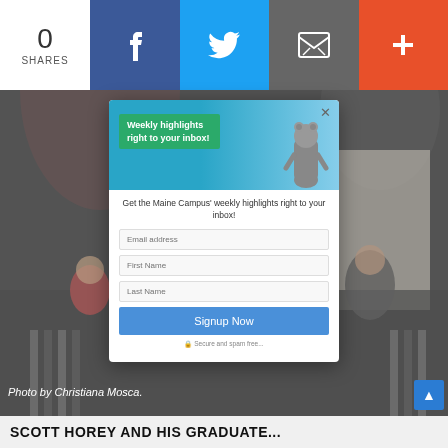0 SHARES | Facebook | Twitter | Email | +
[Figure (screenshot): A dark concert/performance photo showing musicians on stage. In the background a sign reading 'Ciencias' and 'Hiapas' is visible.]
Photo by Christiana Mosca.
[Figure (screenshot): Modal popup with Maine Campus bear mascot image and newsletter signup form. Contains fields for Email address, First Name, Last Name and a Signup Now button. Text reads: Weekly highlights right to your inbox! Get the Maine Campus' weekly highlights right to your inbox! Secure and spam free...]
SCOTT HOREY AND HIS GRADUATE...